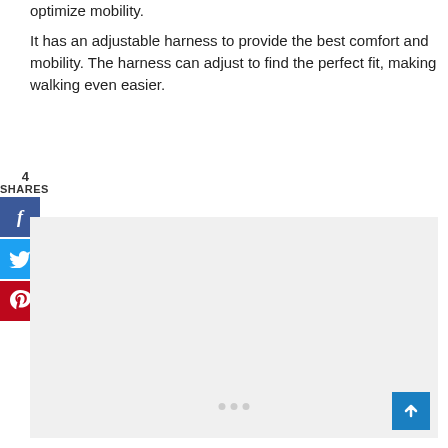optimize mobility.
It has an adjustable harness to provide the best comfort and mobility. The harness can adjust to find the perfect fit, making walking even easier.
[Figure (screenshot): Social share widget with Facebook (f), Twitter (bird), and Pinterest (p) buttons, showing 4 SHARES count]
[Figure (photo): Light gray image placeholder area with carousel navigation dots at bottom]